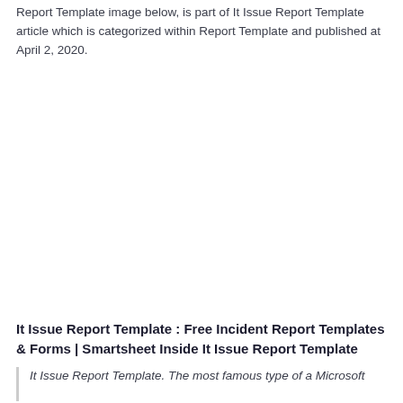Report Template image below, is part of It Issue Report Template article which is categorized within Report Template and published at April 2, 2020.
It Issue Report Template : Free Incident Report Templates & Forms | Smartsheet Inside It Issue Report Template
It Issue Report Template. The most famous type of a Microsoft